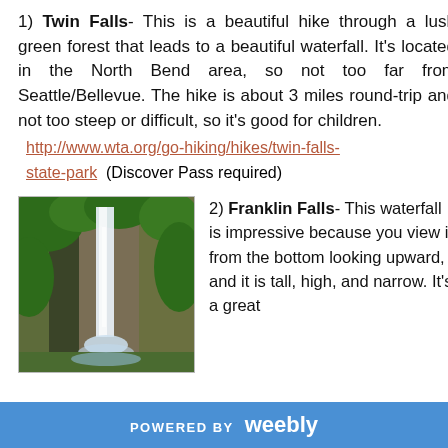1) Twin Falls- This is a beautiful hike through a lush green forest that leads to a beautiful waterfall. It's located in the North Bend area, so not too far from Seattle/Bellevue. The hike is about 3 miles round-trip and not too steep or difficult, so it's good for children.
http://www.wta.org/go-hiking/hikes/twin-falls-state-park (Discover Pass required)
[Figure (photo): Photo of Franklin Falls waterfall — tall narrow waterfall over rocky cliff surrounded by green vegetation]
2) Franklin Falls- This waterfall is impressive because you view it from the bottom looking upward, and it is tall, high, and narrow. It's a great
POWERED BY weebly